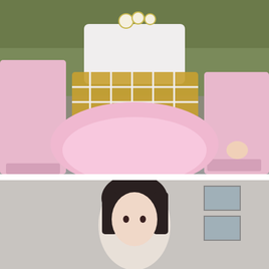[Figure (photo): A person in cosplay costume wearing a white top with gold/brown lattice corset detailing, a pink fluffy skirt, and a pink lace shawl with fringe, sitting outdoors on pavement with green foliage in background.]
The 35 Hottest Cosplay Girls From Every Single Comic-Con
[Figure (photo): A person with dark black hair in cosplay costume, photographed outdoors in front of a concrete building with windows visible in the background.]